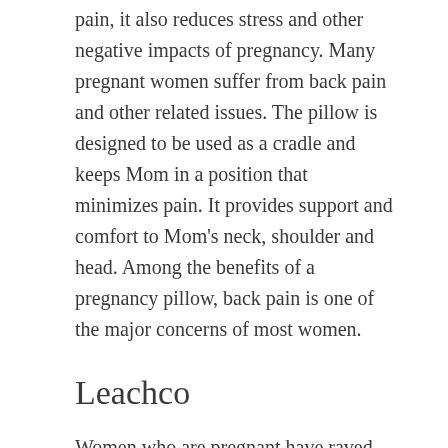pain, it also reduces stress and other negative impacts of pregnancy. Many pregnant women suffer from back pain and other related issues. The pillow is designed to be used as a cradle and keeps Mom in a position that minimizes pain. It provides support and comfort to Mom's neck, shoulder and head. Among the benefits of a pregnancy pillow, back pain is one of the major concerns of most women.
Leachco
Women who are pregnant have raved about the Leachco Mom Cozy Pregnancy Pillows. They mention how it provides support to their back, belly, and hips. Because of their unusual shape and tight curves, they don't cause heat problems. Before you buy a pregnancy pillow, there are a